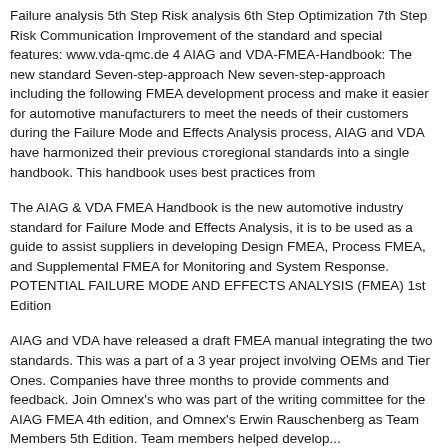Failure analysis 5th Step Risk analysis 6th Step Optimization 7th Step Risk Communication Improvement of the standard and special features: www.vda-qmc.de 4 AIAG and VDA-FMEA-Handbook: The new standard Seven-step-approach New seven-step-approach including the following FMEA development process and make it easier for automotive manufacturers to meet the needs of their customers during the Failure Mode and Effects Analysis process, AIAG and VDA have harmonized their previous "regional" standards into a single handbook. This handbook uses best practices from
The AIAG & VDA FMEA Handbook is the new automotive industry standard for Failure Mode and Effects Analysis, it is to be used as a guide to assist suppliers in developing Design FMEA, Process FMEA, and Supplemental FMEA for Monitoring and System Response. POTENTIAL FAILURE MODE AND EFFECTS ANALYSIS (FMEA) 1st Edition
AIAG and VDA have released a draft FMEA manual integrating the two standards. This was a part of a 3 year project involving OEMs and Tier Ones. Companies have three months to provide comments and feedback. Join Omnex's who was part of the writing committee for the AIAG FMEA 4th edition, and Omnex's Erwin Rauschenberg as Team Members 5th Edition. Team members helped develop...